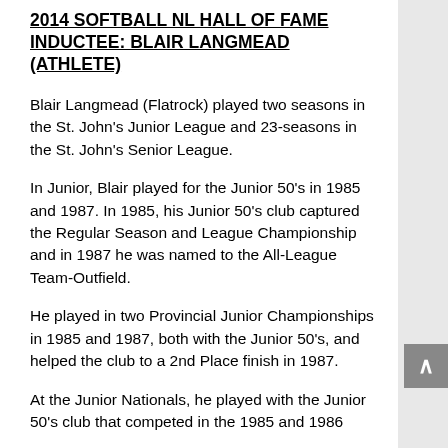2014 SOFTBALL NL HALL OF FAME INDUCTEE: BLAIR LANGMEAD (ATHLETE)
Blair Langmead (Flatrock) played two seasons in the St. John's Junior League and 23-seasons in the St. John's Senior League.
In Junior, Blair played for the Junior 50's in 1985 and 1987. In 1985, his Junior 50's club captured the Regular Season and League Championship and in 1987 he was named to the All-League Team-Outfield.
He played in two Provincial Junior Championships in 1985 and 1987, both with the Junior 50's, and helped the club to a 2nd Place finish in 1987.
At the Junior Nationals, he played with the Junior 50's club that competed in the 1985 and 1986